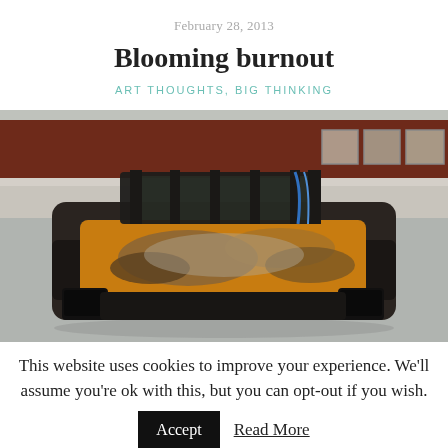February 28, 2013
Blooming burnout
ART THOUGHTS, BIG THINKING
[Figure (photo): A burned-out car with scorched and peeling orange/yellow paint on the hood, gutted interior with exposed frame, parked in a snowy lot in front of a building with a dark red/brown facade and white-framed windows.]
This website uses cookies to improve your experience. We'll assume you're ok with this, but you can opt-out if you wish.  Accept  Read More